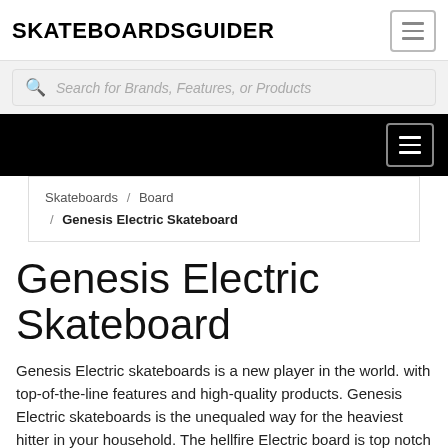SKATEBOARDSGUIDER
Search for Brands, Features, or Products
Skateboards / Board / Genesis Electric Skateboard
Genesis Electric Skateboard
Genesis Electric skateboards is a new player in the world. with top-of-the-line features and high-quality products. Genesis Electric skateboards is the unequaled way for the heaviest hitter in your household. The hellfire Electric board is top notch for enthusiasts who appreciate to skate downhill or up the street. Genesis Electric skateboards renders a wide